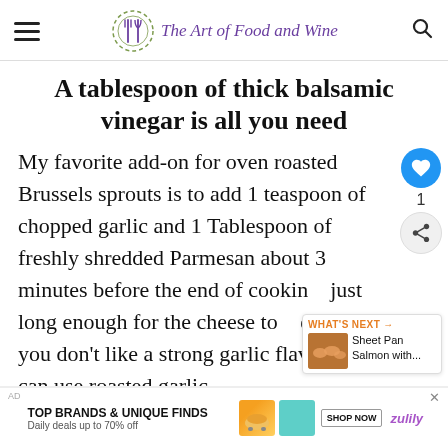The Art of Food and Wine
A tablespoon of thick balsamic vinegar is all you need
My favorite add-on for oven roasted Brussels sprouts is to add 1 teaspoon of chopped garlic and 1 Tablespoon of freshly shredded Parmesan about 3 minutes before the end of cooking, just long enough for the cheese to melt. If you don't like a strong garlic flavor you can use roasted garlic.
[Figure (other): Advertisement banner: Top Brands & Unique Finds. Daily deals up to 70% off. Shop Now button. Zulily logo.]